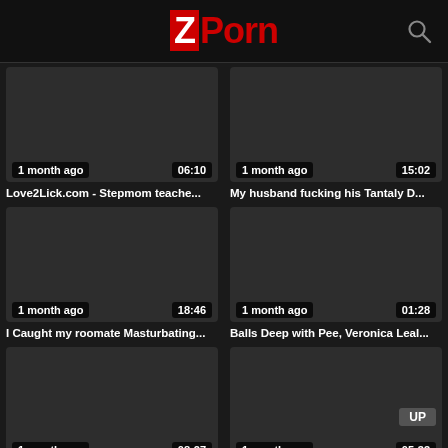ZPorn
[Figure (screenshot): Video thumbnail 1 - dark, 1 month ago, 06:10]
Love2Lick.com - Stepmom teache...
[Figure (screenshot): Video thumbnail 2 - dark, 1 month ago, 15:02]
My husband fucking his Tantaly D...
[Figure (screenshot): Video thumbnail 3 - dark, 1 month ago, 18:46]
I Caught my roomate Masturbating...
[Figure (screenshot): Video thumbnail 4 - dark, 1 month ago, 01:28]
Balls Deep with Pee, Veronica Leal...
[Figure (screenshot): Video thumbnail 5 - dark, 1 month ago, 08:27]
[Figure (screenshot): Video thumbnail 6 - dark, 1 month ago, 05:33, UP badge]